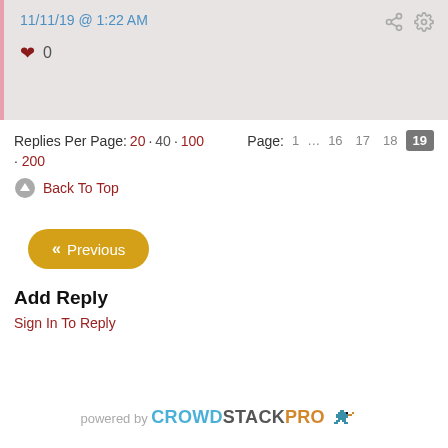11/11/19 @ 1:22 AM
♥ 0
Replies Per Page: 20 · 40 · 100 · 200
Page: 1 … 16 17 18 19
Back To Top
« Previous
Add Reply
Sign In To Reply
powered by CROWDSTACKPRO